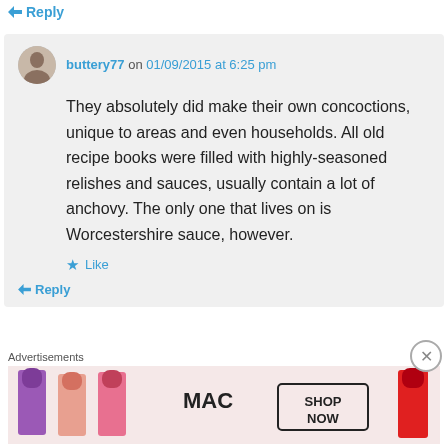Reply
buttery77 on 01/09/2015 at 6:25 pm
They absolutely did make their own concoctions, unique to areas and even households. All old recipe books were filled with highly-seasoned relishes and sauces, usually contain a lot of anchovy. The only one that lives on is Worcestershire sauce, however.
Like
Reply
Advertisements
[Figure (photo): MAC cosmetics advertisement showing lipsticks with SHOP NOW text]